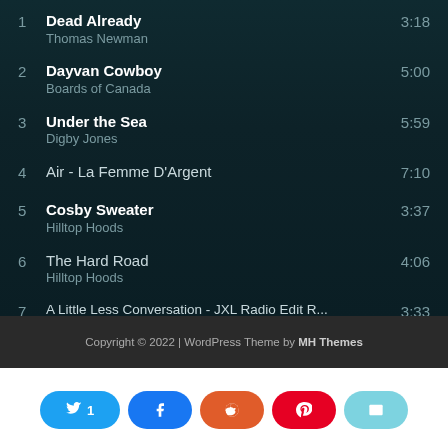1  Dead Already  Thomas Newman  3:18
2  Dayvan Cowboy  Boards of Canada  5:00
3  Under the Sea  Digby Jones  5:59
4  Air - La Femme D'Argent  7:10
5  Cosby Sweater  Hilltop Hoods  3:37
6  The Hard Road  Hilltop Hoods  4:06
7  A Little Less Conversation - JXL Radio Edit R...  3:33
Copyright © 2022 | WordPress Theme by MH Themes